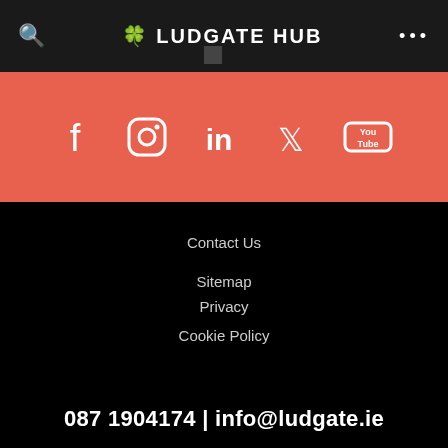LUDGATE HUB
[Figure (illustration): Social media icons bar with Facebook, Instagram, LinkedIn, Twitter, YouTube icons on salmon/coral background]
Contact Us
Sitemap
Privacy
Cookie Policy
087 1904174 | info@ludgate.ie